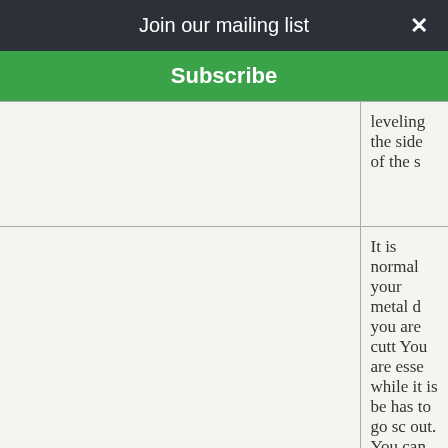Join our mailing list  ×
Subscribe
|  | leveling the side of the s |
| Metal is curling after being sheared. | It is normal your metal d you are cutt You are esse while it is be has to go sc out. You can your metals straighten t intend to us |